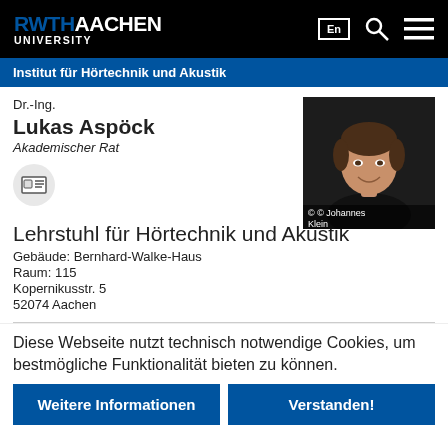RWTH AACHEN UNIVERSITY
Institut für Hörtechnik und Akustik
Dr.-Ing.
Lukas Aspöck
Akademischer Rat
[Figure (photo): Portrait photo of Lukas Aspöck, © Johannes Klein]
Lehrstuhl für Hörtechnik und Akustik
Gebäude: Bernhard-Walke-Haus
Raum: 115
Kopernikusstr. 5
52074 Aachen
Diese Webseite nutzt technisch notwendige Cookies, um bestmögliche Funktionalität bieten zu können.
Weitere Informationen
Verstanden!